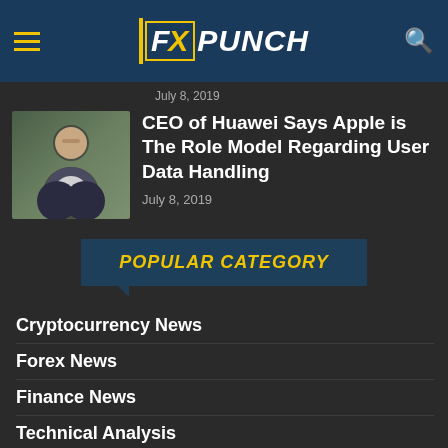FXPunch
July 8, 2019
CEO of Huawei Says Apple is The Role Model Regarding User Data Handling
July 8, 2019
POPULAR CATEGORY
Cryptocurrency News
Forex News
Finance News
Technical Analysis
Reviews
PR
Education